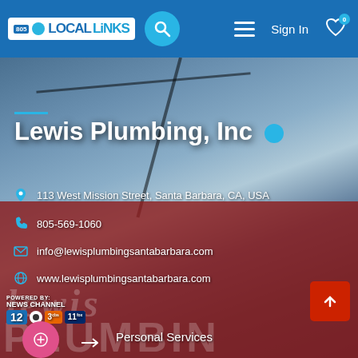[Figure (screenshot): 805 LOCAL LINKS navigation bar with logo, search button, menu icon, Sign In text, and heart icon with badge 0]
[Figure (photo): Background photo of Lewis Plumbing Inc storefront sign with blue sky and clouds, overlaid with business information]
Lewis Plumbing, Inc
113 West Mission Street, Santa Barbara, CA, USA
805-569-1060
info@lewisplumbingsantabarbara.com
www.lewisplumbingsantabarbara.com
POWERED BY: NEWS CHANNEL 12 3 11
Personal Services